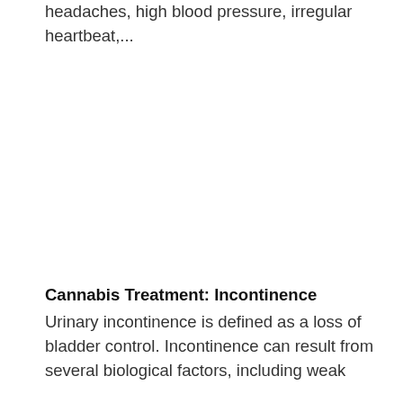headaches, high blood pressure, irregular heartbeat,...
Cannabis Treatment: Incontinence
Urinary incontinence is defined as a loss of bladder control. Incontinence can result from several biological factors, including weak